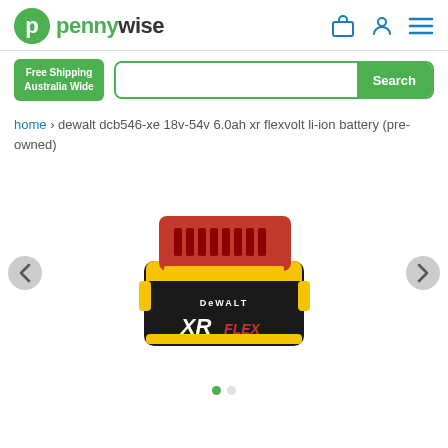pennywise
Free Shipping Australia Wide
Search
home › dewalt dcb546-xe 18v-54v 6.0ah xr flexvolt li-ion battery (pre-owned)
[Figure (photo): DeWalt XR FlexVolt 18V-54V 6.0Ah Li-Ion battery, black and yellow body with red top panel, showing the DeWalt logo and XR FLEX lettering with 18V and 54V markings.]